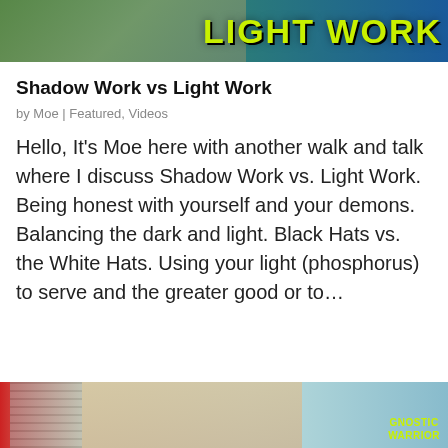[Figure (photo): Top banner image with yellow-green bold text reading 'LIGHT WORK' on a dark background with a hand visible on the left side]
Shadow Work vs Light Work
by Moe | Featured, Videos
Hello, It's Moe here with another walk and talk where I discuss Shadow Work vs. Light Work. Being honest with yourself and your demons. Balancing the dark and light. Black Hats vs. the White Hats. Using your light (phosphorus) to serve and the greater good or to…
[Figure (photo): Bottom partial image showing a man outdoors with buildings in background and a 'Gnostic Warrior' logo in yellow-green text at bottom right]